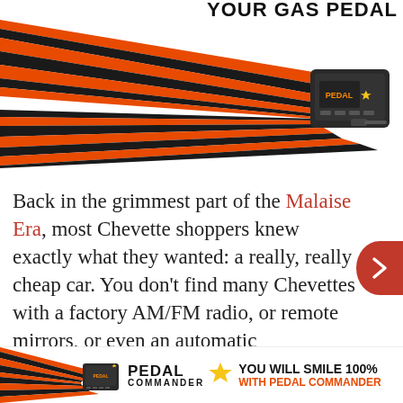[Figure (infographic): Pedal Commander advertisement graphic showing orange and black arrow/lightning bolt design converging on a Pedal Commander device, with text 'YOUR GAS PEDAL' in black uppercase and 'WITH PEDAL COMMANDER' in orange uppercase]
Back in the grimmest part of the Malaise Era, most Chevette shoppers knew exactly what they wanted: a really, really cheap car. You don't find many Chevettes with a factory AM/FM radio, or remote mirrors, or even an automatic transmission. A Chevette with all those [advertisement overlay] ? This is a ju[advertisement overlay]
[Figure (infographic): Bottom banner advertisement for Pedal Commander with orange/black graphic, PEDAL COMMANDER logo with star, and text 'YOU WILL SMILE 100% WITH PEDAL COMMANDER']